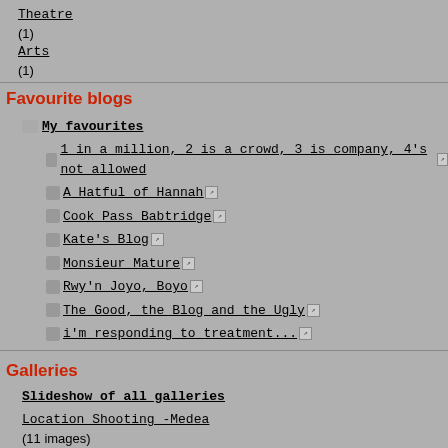Theatre (1)
Arts (1)
Favourite blogs
My favourites
1 in a million, 2 is a crowd, 3 is company, 4's not allowed
A Hatful of Hannah
Cook Pass Babtridge
Kate's Blog
Monsieur Mature
Rwy'n Joyo, Boyo
The Good, the Blog and the Ugly
i'm responding to treatment...
Galleries
Slideshow of all galleries
Location Shooting -Medea (11 images)
Medea Performance (1 images)
Medea Set (8 images)
Room Invasion (10 images)
Most recent comments